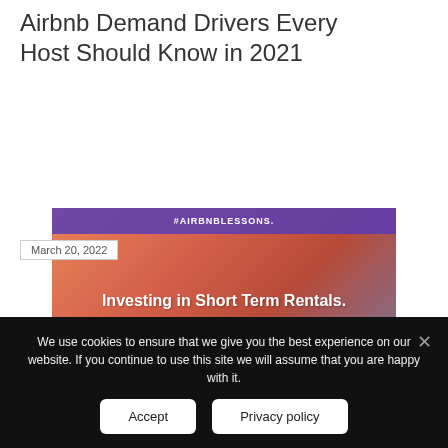Airbnb Demand Drivers Every Host Should Know in 2021
[Figure (illustration): Thumbnail image with purple banner showing #AIRBNBLESSONS and orange/red background with text 'Investing in Short Term Rentals.' overlaid]
March 20, 2022
Investing in Short Term Rentals : Lessons From a Legend
We use cookies to ensure that we give you the best experience on our website. If you continue to use this site we will assume that you are happy with it.
Accept
Privacy policy